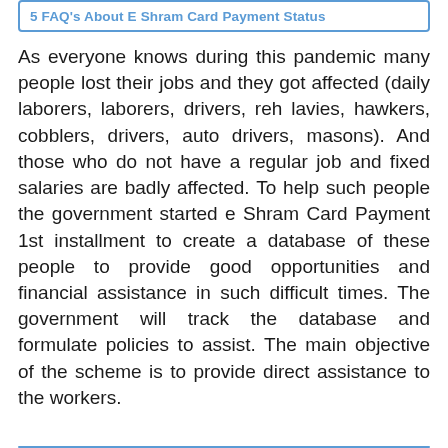5 FAQ's About E Shram Card Payment Status
As everyone knows during this pandemic many people lost their jobs and they got affected (daily laborers, laborers, drivers, reh lavies, hawkers, cobblers, drivers, auto drivers, masons). And those who do not have a regular job and fixed salaries are badly affected. To help such people the government started e Shram Card Payment 1st installment to create a database of these people to provide good opportunities and financial assistance in such difficult times. The government will track the database and formulate policies to assist. The main objective of the scheme is to provide direct assistance to the workers.